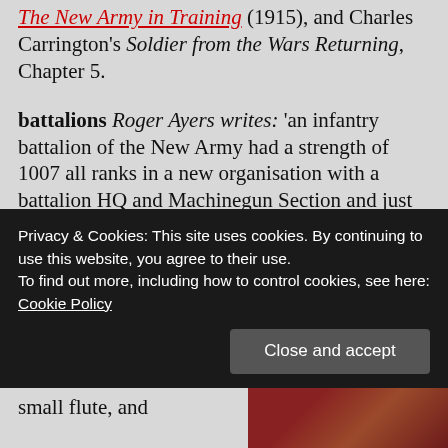The New Army in Training (1915), and Charles Carrington's Soldier from the Wars Returning, Chapter 5.
battalions Roger Ayers writes: 'an infantry battalion of the New Army had a strength of 1007 all ranks in a new organisation with a battalion HQ and Machinegun Section and just four rifle companies, each of 227 all ranks. [R.A.]
concertinas small musical instruments held in the hands, played by compressing and extending a bellows which passes air
Privacy & Cookies: This site uses cookies. By continuing to use this website, you agree to their use. To find out more, including how to control cookies, see here: Cookie Policy
Close and accept
small flute, and